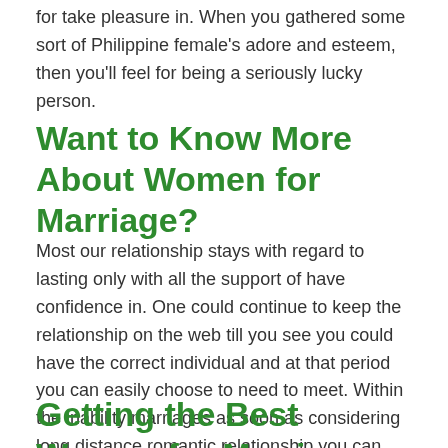for take pleasure in. When you gathered some sort of Philippine female's adore and esteem, then you'll feel for being a seriously lucky person.
Want to Know More About Women for Marriage?
Most our relationship stays with regard to lasting only with all the support of have confidence in. One could continue to keep the relationship on the web till you see you could have the correct individual and at that period you can easily choose to need to meet. Within the inability marriages as soon as considering long distance romantic relationship you can find numerous factors included.
Getting the Best Women for Marriage